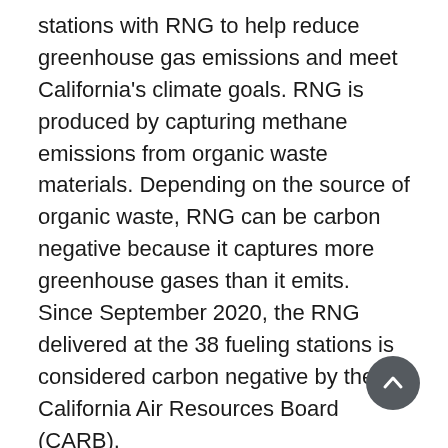stations with RNG to help reduce greenhouse gas emissions and meet California's climate goals. RNG is produced by capturing methane emissions from organic waste materials. Depending on the source of organic waste, RNG can be carbon negative because it captures more greenhouse gases than it emits. Since September 2020, the RNG delivered at the 38 fueling stations is considered carbon negative by the California Air Resources Board (CARB).
RNG delivered at the 38 fueling stations helped avoid approximately 275,000 metric tons of CO2 emissions over the last three years – equivalent to eliminating nearly 31 million gallons of gasoline burned, according to the U.S.